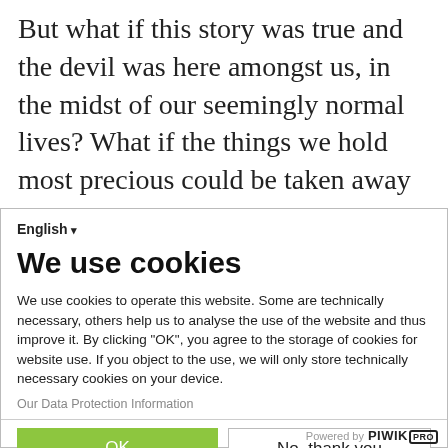But what if this story was true and the devil was here amongst us, in the midst of our seemingly normal lives? What if the things we hold most precious could be taken away in the blink of an eye, and we are mere characters in a story being written
[Figure (screenshot): Cookie consent modal dialog with language selector showing 'English', title 'We use cookies', body text explaining cookie usage, a link 'Our Data Protection Information', and two buttons: 'OK' (green) and 'No, thank you' (white/outlined). Powered by PIWIK PRO branding at bottom right.]